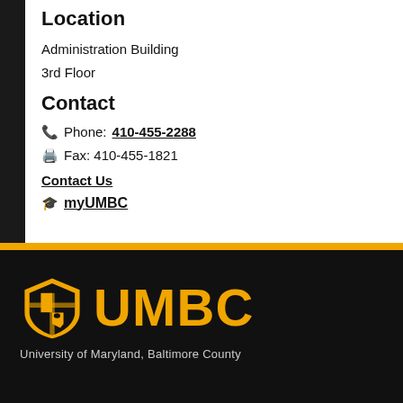Location
Administration Building
3rd Floor
Contact
Phone: 410-455-2288
Fax: 410-455-1821
Contact Us
myUMBC
[Figure (logo): UMBC shield logo with golden text reading UMBC and subtitle University of Maryland, Baltimore County]